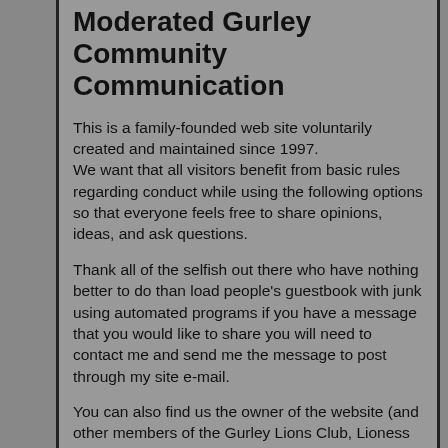Moderated Gurley Community Communication
This is a family-founded web site voluntarily created and maintained since 1997. We want that all visitors benefit from basic rules regarding conduct while using the following options so that everyone feels free to share opinions, ideas, and ask questions.
Thank all of the selfish out there who have nothing better to do than load people's guestbook with junk using automated programs if you have a message that you would like to share you will need to contact me and send me the message to post through my site e-mail.
You can also find us the owner of the website (and other members of the Gurley Lions Club, Lioness Club, Friends of the Gurley Public Library, Citizen For A Better Gurley, Gurley Cumberland Presbyterian Church) on facebook, LinkedIn and other social networks.